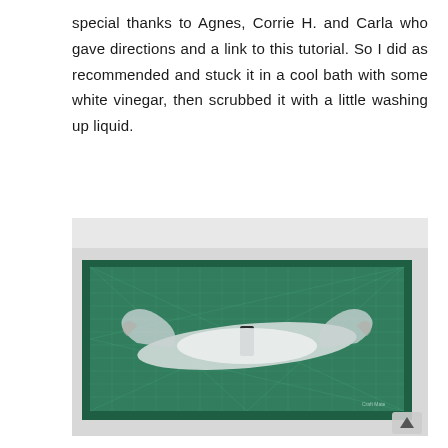special thanks to Agnes, Corrie H. and Carla who gave directions and a link to this tutorial. So I did as recommended and stuck it in a cool bath with some white vinegar, then scrubbed it with a little washing up liquid.
[Figure (photo): A photograph of a green self-healing cutting mat on a white surface, with a transparent/white craft piece (possibly a bat or wing shape made of fabric or interfacing) laid flat on top of the mat. The mat has a grid pattern and diagonal lines typical of cutting mats.]